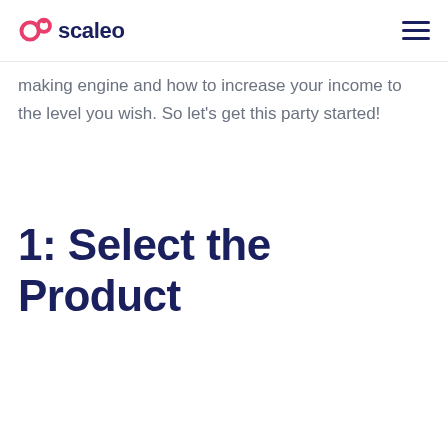scaleo
making engine and how to increase your income to the level you wish. So let's get this party started!
1: Select the Product